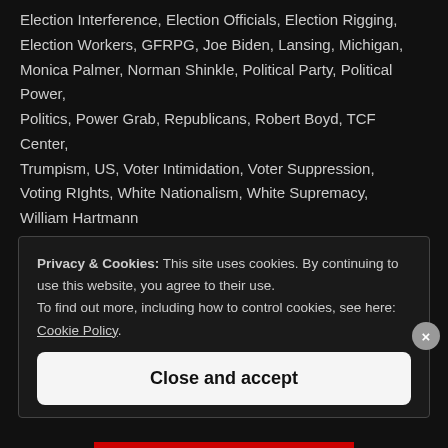Election Interference, Election Officials, Election Rigging, Election Workers, GFRPG, Joe Biden, Lansing, Michigan, Monica Palmer, Norman Shinkle, Political Party, Political Power, Politics, Power Grab, Republicans, Robert Boyd, TCF Center, Trumpism, US, Voter Intimidation, Voter Suppression, Voting Rights, White Nationalism, White Supremacy, William Hartmann
Leave a comment
Privacy & Cookies: This site uses cookies. By continuing to use this website, you agree to their use. To find out more, including how to control cookies, see here: Cookie Policy
Close and accept